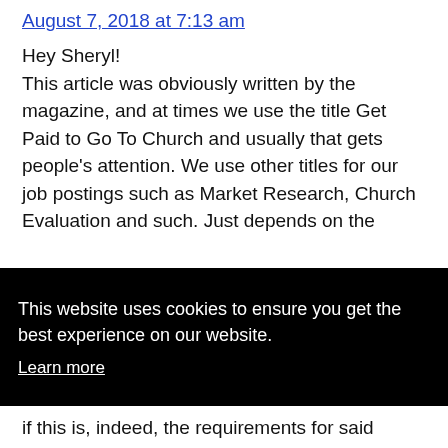August 7, 2018 at 7:13 am
Hey Sheryl! This article was obviously written by the magazine, and at times we use the title Get Paid to Go To Church and usually that gets people's attention. We use other titles for our job postings such as Market Research, Church Evaluation and such. Just depends on the
This website uses cookies to ensure you get the best experience on our website.
Learn more
Got it!
if this is, indeed, the requirements for said